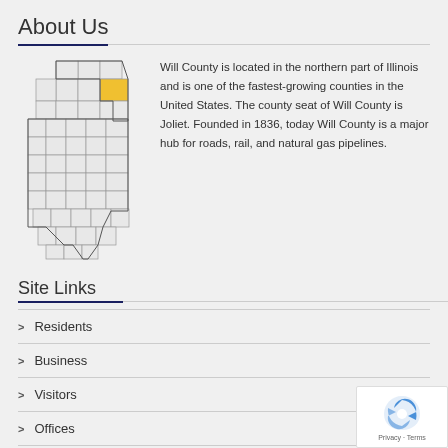About Us
[Figure (map): Map of Illinois counties with Will County highlighted in yellow in the northeastern region]
Will County is located in the northern part of Illinois and is one of the fastest-growing counties in the United States. The county seat of Will County is Joliet. Founded in 1836, today Will County is a major hub for roads, rail, and natural gas pipelines.
Site Links
Residents
Business
Visitors
Offices